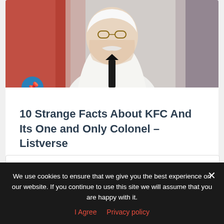[Figure (photo): Photo of Colonel Sanders (KFC mascot) in white suit and black string tie, with a American flag and reddish-purple background, with a blue circular pin badge overlay at bottom left]
10 Strange Facts About KFC And Its One and Only Colonel – Listverse
We use cookies to ensure that we give you the best experience on our website. If you continue to use this site we will assume that you are happy with it.
I Agree   Privacy policy